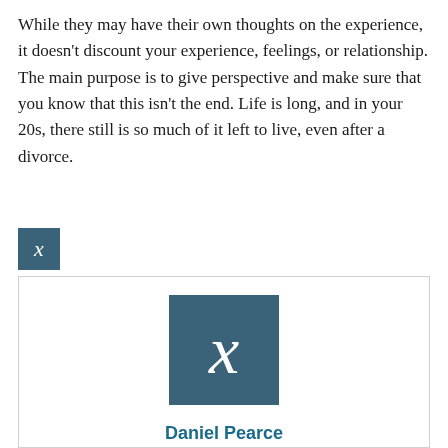While they may have their own thoughts on the experience, it doesn't discount your experience, feelings, or relationship. The main purpose is to give perspective and make sure that you know that this isn't the end. Life is long, and in your 20s, there still is so much of it left to live, even after a divorce.
[Figure (logo): Small dark teal square icon with a white italic X letter]
[Figure (illustration): Author profile card with a dark teal square avatar containing a large white italic X, author name Daniel Pearce in bold teal, and author bio text below]
Daniel Pearce
Dan Pearce is an Online Editor for Lexicon, focusing on subjects related to the legal services of customers, Cordell & Cordell and